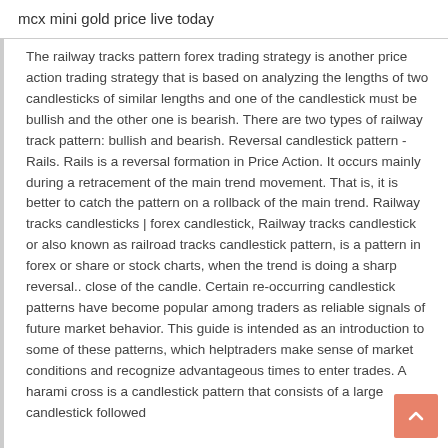mcx mini gold price live today
The railway tracks pattern forex trading strategy is another price action trading strategy that is based on analyzing the lengths of two candlesticks of similar lengths and one of the candlestick must be bullish and the other one is bearish. There are two types of railway track pattern: bullish and bearish. Reversal candlestick pattern - Rails. Rails is a reversal formation in Price Action. It occurs mainly during a retracement of the main trend movement. That is, it is better to catch the pattern on a rollback of the main trend. Railway tracks candlesticks | forex candlestick, Railway tracks candlestick or also known as railroad tracks candlestick pattern, is a pattern in forex or share or stock charts, when the trend is doing a sharp reversal.. close of the candle. Certain re-occurring candlestick patterns have become popular among traders as reliable signals of future market behavior. This guide is intended as an introduction to some of these patterns, which helptraders make sense of market conditions and recognize advantageous times to enter trades. A harami cross is a candlestick pattern that consists of a large candlestick followed